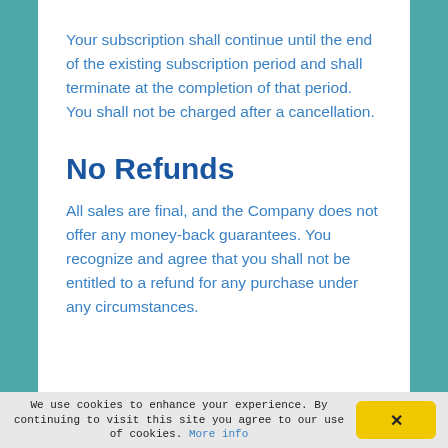Your subscription shall continue until the end of the existing subscription period and shall terminate at the completion of that period. You shall not be charged after a cancellation.
No Refunds
All sales are final, and the Company does not offer any money-back guarantees. You recognize and agree that you shall not be entitled to a refund for any purchase under any circumstances.
We use cookies to enhance your experience. By continuing to visit this site you agree to our use of cookies. More info